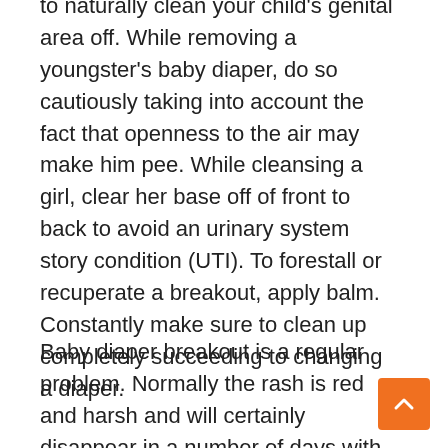to naturally clean your child's genital area off. While removing a youngster's baby diaper, do so cautiously taking into account the fact that openness to the air may make him pee. While cleansing a girl, clear her base off of front to back to avoid an urinary system story condition (UTI). To forestall or recuperate a breakout, apply balm. Constantly make sure to clean up completely succeeding to changing a diaper.
Baby diaper breakout is a regular problem. Normally the rash is red and harsh and will certainly disappear in a number of days with steaming showers, some baby diaper